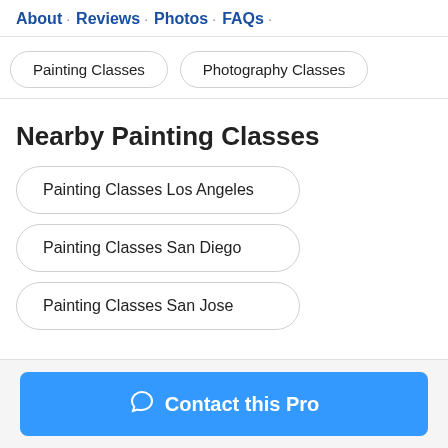About · Reviews · Photos · FAQs ·
Painting Classes
Photography Classes
Nearby Painting Classes
Painting Classes Los Angeles
Painting Classes San Diego
Painting Classes San Jose
Contact this Pro